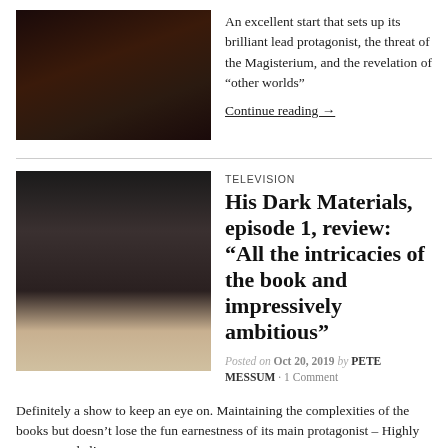[Figure (photo): Dark photograph showing hands holding an object, warm brown tones]
An excellent start that sets up its brilliant lead protagonist, the threat of the Magisterium, and the revelation of “other worlds”
Continue reading →
[Figure (photo): Young woman with dark hair looking through a window with vertical bars, a white animal (ermine/ferret) visible beside her]
TELEVISION
His Dark Materials, episode 1, review: “All the intricacies of the book and impressively ambitious”
Posted on Oct 20, 2019 by PETE MESSUM · 1 Comment
Definitely a show to keep an eye on. Maintaining the complexities of the books but doesn’t lose the fun earnestness of its main protagonist – Highly recommended!